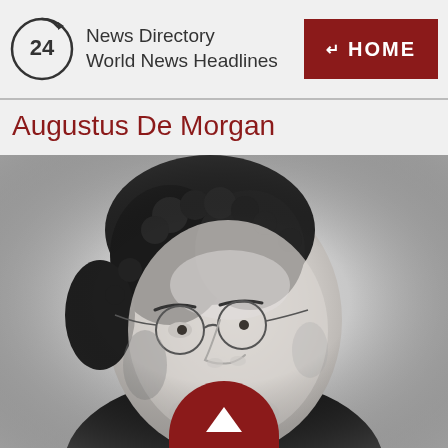News Directory World News Headlines | HOME
Augustus De Morgan
[Figure (photo): Black and white portrait photograph of Augustus De Morgan, a 19th-century mathematician, shown in three-quarter profile view wearing round spectacles and period clothing with a high collar.]